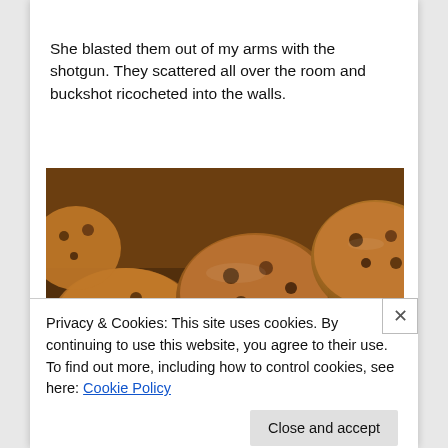She blasted them out of my arms with the shotgun. They scattered all over the room and buckshot ricocheted into the walls.
[Figure (photo): Close-up photo of chocolate chip cookies on a baking tray, golden brown with visible chocolate chips]
Privacy & Cookies: This site uses cookies. By continuing to use this website, you agree to their use.
To find out more, including how to control cookies, see here: Cookie Policy
Close and accept